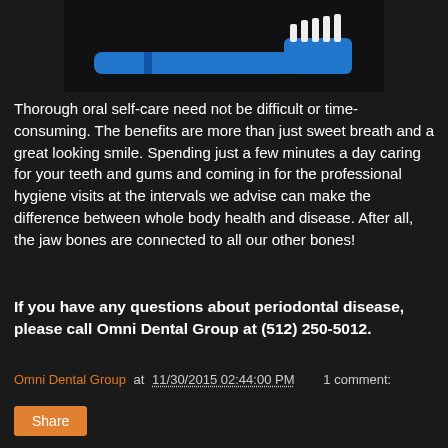[Figure (illustration): A blue toothbrush with white bristles on a dark background, partially visible at top of page.]
Thorough oral self-care need not be difficult or time-consuming. The benefits are more than just sweet breath and a great looking smile. Spending just a few minutes a day caring for your teeth and gums and coming in for the professional hygiene visits at the intervals we advise can make the difference between whole body health and disease. After all, the jaw bones are connected to all our other bones!
If you have any questions about periodontal disease, please call Omni Dental Group at (512) 250-5012.
Omni Dental Group at 11/30/2015 02:44:00 PM    1 comment:
Share